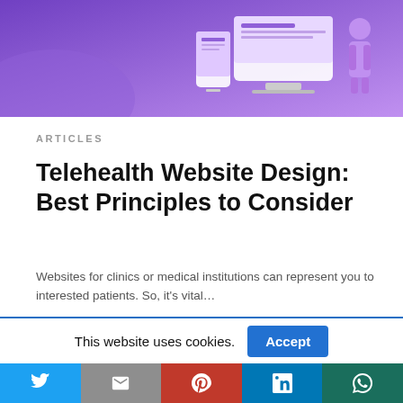[Figure (illustration): Purple/violet hero banner with telehealth website design illustration — devices (monitor, smartphone) shown on gradient purple background]
ARTICLES
Telehealth Website Design: Best Principles to Consider
Websites for clinics or medical institutions can represent you to interested patients. So, it's vital…
4 weeks ago
[Figure (other): Light gray placeholder box for next article image]
This website uses cookies.
Accept